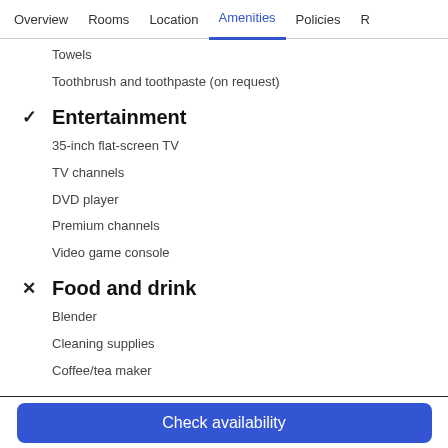Overview | Rooms | Location | Amenities | Policies | R
Towels
Toothbrush and toothpaste (on request)
Entertainment
35-inch flat-screen TV
TV channels
DVD player
Premium channels
Video game console
Food and drink
Blender
Cleaning supplies
Coffee/tea maker
Check availability